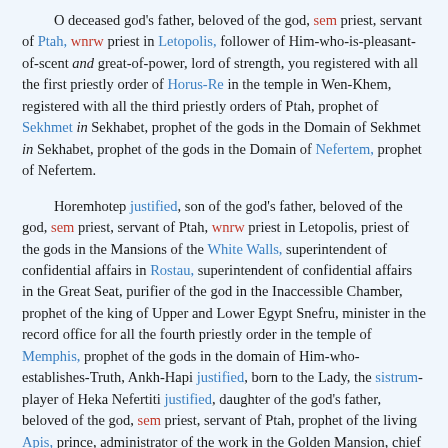O deceased god's father, beloved of the god, sem priest, servant of Ptah, wnrw priest in Letopolis, follower of Him-who-is-pleasant-of-scent and great-of-power, lord of strength, you registered with all the first priestly order of Horus-Re in the temple in Wen-Khem, registered with all the third priestly orders of Ptah, prophet of Sekhmet in Sekhabet, prophet of the gods in the Domain of Sekhmet in Sekhabet, prophet of the gods in the Domain of Nefertem, prophet of Nefertem.
Horemhotep justified, son of the god's father, beloved of the god, sem priest, servant of Ptah, wnrw priest in Letopolis, priest of the gods in the Mansions of the White Walls, superintendent of confidential affairs in Rostau, superintendent of confidential affairs in the Great Seat, purifier of the god in the Inaccessible Chamber, prophet of the king of Upper and Lower Egypt Snefru, minister in the record office for all the fourth priestly order in the temple of Memphis, prophet of the gods in the domain of Him-who-establishes-Truth, Ankh-Hapi justified, born to the Lady, the sistrum-player of Heka Nefertiti justified, daughter of the god's father, beloved of the god, sem priest, servant of Ptah, prophet of the living Apis, prince, administrator of the work in the Golden Mansion, chief